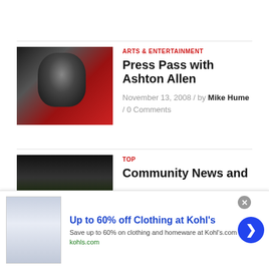[Figure (photo): Black and white close-up portrait of a man with dark hair against a red background]
ARTS & ENTERTAINMENT
Press Pass with Ashton Allen
November 13, 2008 / by Mike Hume / 0 Comments
[Figure (photo): Dark night scene photo with infolinks watermark overlay]
TOP
Community News and
[Figure (screenshot): Advertisement banner: Up to 60% off Clothing at Kohl's - Save up to 60% on clothing and homeware at Kohl's.com - kohls.com]